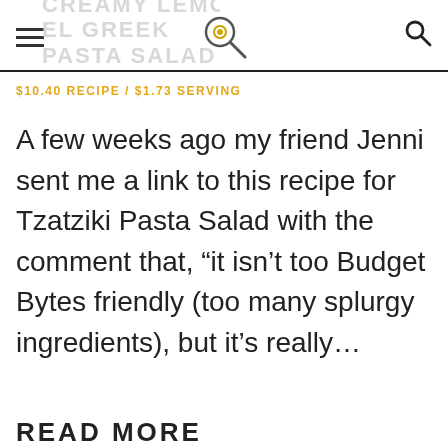CREAMY LEMON EL GREEK PASTA SALAD
$10.40 RECIPE / $1.73 SERVING
A few weeks ago my friend Jenni sent me a link to this recipe for Tzatziki Pasta Salad with the comment that, “it isn’t too Budget Bytes friendly (too many splurgy ingredients), but it’s really…
READ MORE